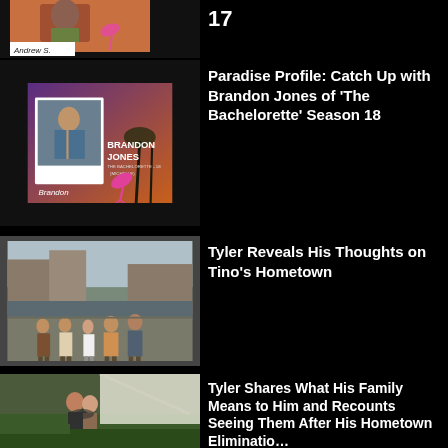[Figure (photo): Partial photo of Andrew S. with pink flamingo prop on black background]
17
[Figure (photo): Brandon Jones Paradise Profile card with purple/orange background, pink flamingo, man in open shirt. Text: BRANDON JONES THE BACHELORETTE - 18 (MICHELLE). Handwritten label: Brandon]
Paradise Profile: Catch Up with Brandon Jones of 'The Bachelorette' Season 18
[Figure (photo): Group of five people standing outdoors in European-looking city, canal in background]
Tyler Reveals His Thoughts on Tino’s Hometown
[Figure (photo): Couple embracing or dancing outdoors near tent/fabric draped structure with greenery]
Tyler Shares What His Family Means to Him and Recounts Seeing Them After His Hometown Elimination